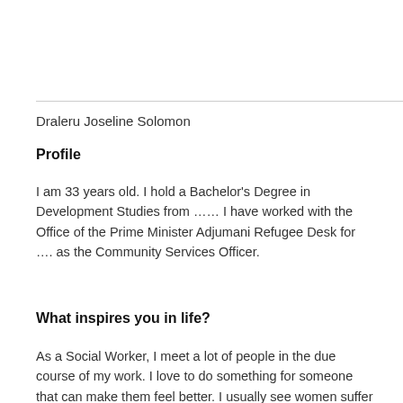Draleru Joseline Solomon
Profile
I am 33 years old. I hold a Bachelor's Degree in Development Studies from …… I have worked with the Office of the Prime Minister Adjumani Refugee Desk for …. as the Community Services Officer.
What inspires you in life?
As a Social Worker, I meet a lot of people in the due course of my work. I love to do something for someone that can make them feel better. I usually see women suffer in various